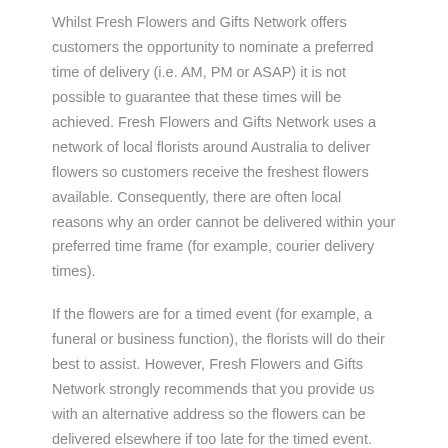Whilst Fresh Flowers and Gifts Network offers customers the opportunity to nominate a preferred time of delivery (i.e. AM, PM or ASAP) it is not possible to guarantee that these times will be achieved. Fresh Flowers and Gifts Network uses a network of local florists around Australia to deliver flowers so customers receive the freshest flowers available. Consequently, there are often local reasons why an order cannot be delivered within your preferred time frame (for example, courier delivery times).
If the flowers are for a timed event (for example, a funeral or business function), the florists will do their best to assist. However, Fresh Flowers and Gifts Network strongly recommends that you provide us with an alternative address so the flowers can be delivered elsewhere if too late for the timed event.
Same Day Delivery - Saturday:
Orders must be received before 10:00 a.m. in the recipient's time zone to assure same-day delivery. Orders received after that time will be delivered the following day business day. Flower deliveries to residential addresses usually occur between 9:00am and 3:00pm, and flower deliveries to work addresses usually occur between 9:00am and 5:00pm. Please note that these delivery times will likely